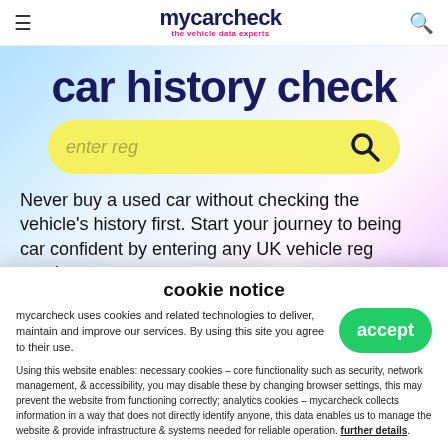mycarcheck – the vehicle data experts
car history check
[Figure (other): Yellow rounded search input bar with placeholder text 'enter reg' and a magnifying glass icon]
Never buy a used car without checking the vehicle's history first. Start your journey to being car confident by entering any UK vehicle reg number.
Free checks won't tell you if it's stolen! Every month, an average of 1,313 miss out on the stolen car check…
cookie notice
mycarcheck uses cookies and related technologies to deliver, maintain and improve our services. By using this site you agree to their use.
Using this website enables: necessary cookies – core functionality such as security, network management, & accessibility, you may disable these by changing browser settings, this may prevent the website from functioning correctly; analytics cookies – mycarcheck collects information in a way that does not directly identify anyone, this data enables us to manage the website & provide infrastructure & systems needed for reliable operation. further details.